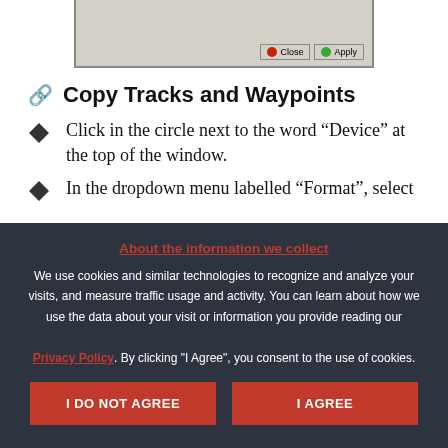[Figure (screenshot): Dialog box with Close and Apply buttons at bottom right, Windows-style grey dialog]
Copy Tracks and Waypoints
Click in the circle next to the word “Device” at the top of the window.
In the dropdown menu labelled “Format”, select
About the information we collect
We use cookies and similar technologies to recognize and analyze your visits, and measure traffic usage and activity. You can learn about how we use the data about your visit or information you provide reading our Privacy Policy. By clicking "I Agree", you consent to the use of cookies.
I DO NOT AGREE
I AGREE